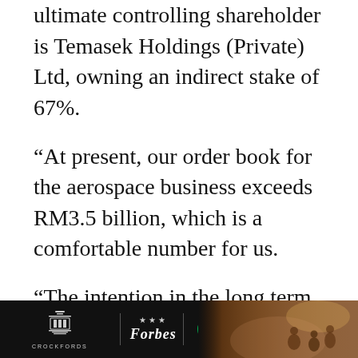ultimate controlling shareholder is Temasek Holdings (Private) Ltd, owning an indirect stake of 67%.
“At present, our order book for the aerospace business exceeds RM3.5 billion, which is a comfortable number for us.
“The intention in the long term is to bring the revenue contribution from the aerospace business to 80% as this business provides the company with a steady stream of profit,” said SAM Engineering chief executive officer
[Figure (other): Advertisement banner: Crockfords logo, Forbes verified badge, and a photo of people in a venue, on a dark background]